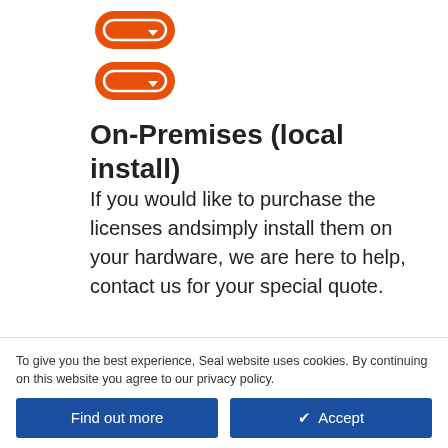[Figure (logo): Orange rounded rectangle stacked logo icon (Seal software logo)]
On-Premises (local install)
If you would like to purchase the licenses andsimply install them on your hardware, we are here to help, contact us for your special quote.
[Figure (logo): Partial orange logo icon at bottom of page]
To give you the best experience, Seal website uses cookies. By continuing on this website you agree to our privacy policy.
Find out more
✔ Accept